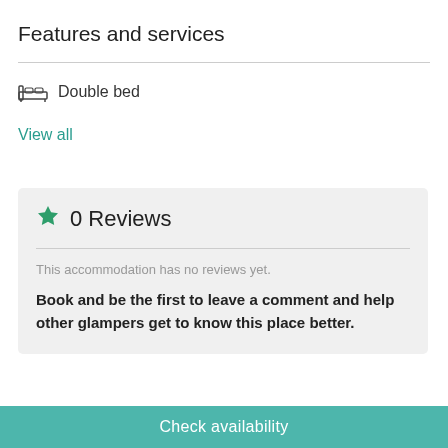Features and services
Double bed
View all
0 Reviews
This accommodation has no reviews yet.
Book and be the first to leave a comment and help other glampers get to know this place better.
Accommodation rules
Check availability